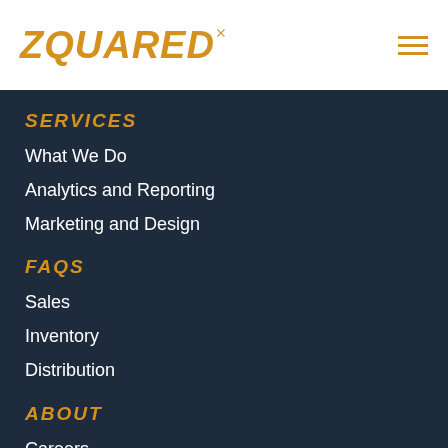ZQUARED
SERVICES
What We Do
Analytics and Reporting
Marketing and Design
FAQS
Sales
Inventory
Distribution
ABOUT
Careers